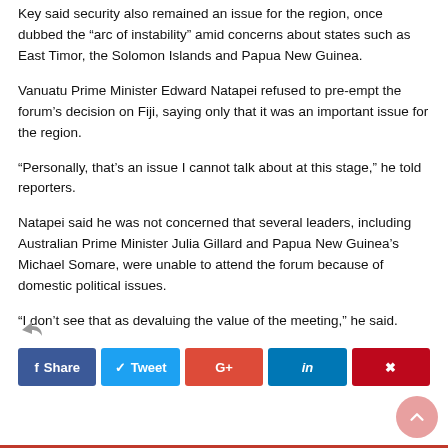Key said security also remained an issue for the region, once dubbed the “arc of instability” amid concerns about states such as East Timor, the Solomon Islands and Papua New Guinea.
Vanuatu Prime Minister Edward Natapei refused to pre-empt the forum’s decision on Fiji, saying only that it was an important issue for the region.
“Personally, that’s an issue I cannot talk about at this stage,” he told reporters.
Natapei said he was not concerned that several leaders, including Australian Prime Minister Julia Gillard and Papua New Guinea’s Michael Somare, were unable to attend the forum because of domestic political issues.
“I don’t see that as devaluing the value of the meeting,” he said.